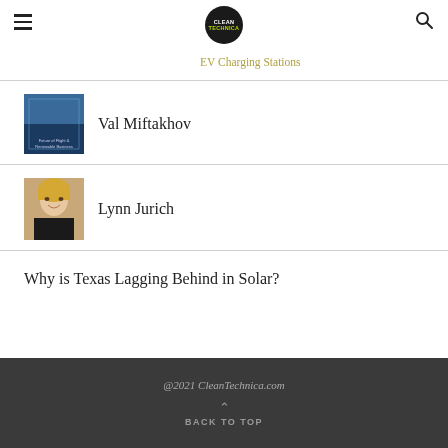CleanTechnica
EV Charging Stations
Val Miftakhov
Lynn Jurich
Why is Texas Lagging Behind in Solar?
@2021 CleanTechnica.com
BACK TO TOP